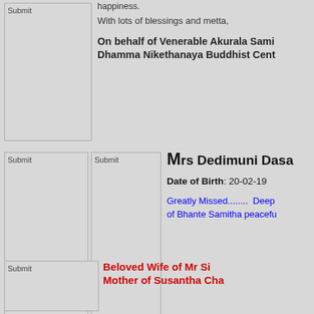happiness.
With lots of blessings and metta,
On behalf of Venerable Akurala Sami
Dhamma Nikethanaya Buddhist Cent
[Figure (photo): Submit image placeholder (top left)]
[Figure (photo): Submit image placeholder (middle left 1)]
[Figure (photo): Submit image placeholder (middle left 2)]
Mrs Dedimuni Dasa
Date of Birth: 20-02-19
Greatly Missed........  Deep of Bhante Samitha peacefu
[Figure (photo): Submit image placeholder (bottom left)]
Beloved Wife of Mr Si
Mother of Susantha Cha